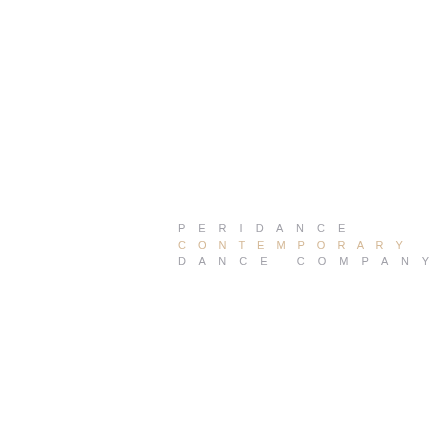[Figure (logo): Peridance Contemporary Dance Company logo in three lines: 'PERIDANCE' in light grey spaced caps, 'CONTEMPORARY' in light tan/gold spaced caps, 'DANCE COMPANY' in light grey spaced caps]